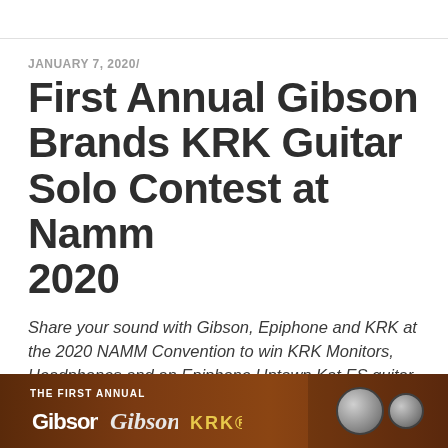JANUARY 7, 2020/
First Annual Gibson Brands KRK Guitar Solo Contest at Namm 2020
Share your sound with Gibson, Epiphone and KRK at the 2020 NAMM Convention to win KRK Monitors, Headphones and an Epiphone Uptown Kat ES guitar
[Figure (photo): Dark brown wooden guitar headstock background with 'THE FIRST ANNUAL' text and Gibson, Gibson script, and KRK logos, with guitar tuning pegs visible on the right side]